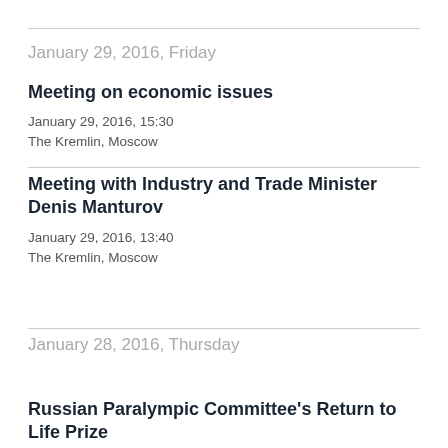January 29, 2016, Friday
Meeting on economic issues
January 29, 2016, 15:30
The Kremlin, Moscow
Meeting with Industry and Trade Minister Denis Manturov
January 29, 2016, 13:40
The Kremlin, Moscow
January 28, 2016, Thursday
Russian Paralympic Committee's Return to Life Prize